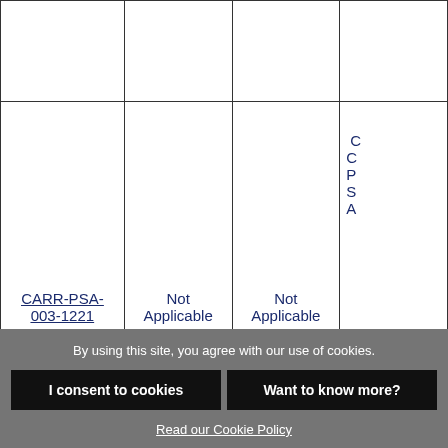|  |  |  |  |
| --- | --- | --- | --- |
|  |  |  |  |
| CARR-PSA-003-1221 | Not Applicable | Not Applicable | C O P S A A... |
| CARR-PSA-004-0322 | Not Applicable | Not Applicable | C O P S A A... |
By using this site, you agree with our use of cookies.
I consent to cookies
Want to know more?
Read our Cookie Policy